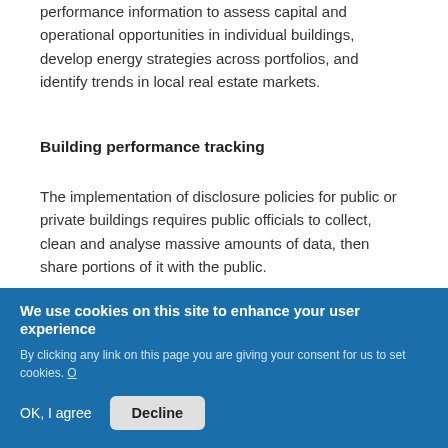performance information to assess capital and operational opportunities in individual buildings, develop energy strategies across portfolios, and identify trends in local real estate markets.
Building performance tracking
The implementation of disclosure policies for public or private buildings requires public officials to collect, clean and analyse massive amounts of data, then share portions of it with the public.
Energy efficiency programme implementation
We use cookies on this site to enhance your user experience
By clicking any link on this page you are giving your consent for us to set cookies. O
OK, I agree
Decline